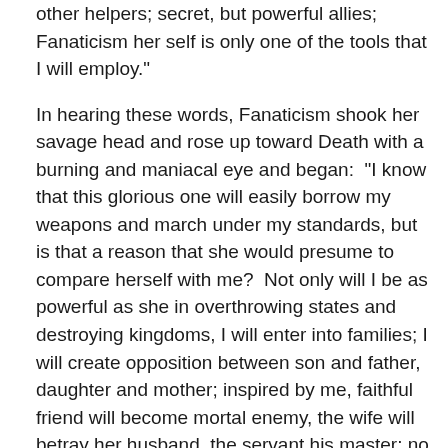other helpers; secret, but powerful allies; Fanaticism her self is only one of the tools that I will employ."
In hearing these words, Fanaticism shook her savage head and rose up toward Death with a burning and maniacal eye and began: “I know that this glorious one will easily borrow my weapons and march under my standards, but is that a reason that she would presume to compare herself with me? Not only will I be as powerful as she in overthrowing states and destroying kingdoms, I will enter into families; I will create opposition between son and father, daughter and mother; inspired by me, faithful friend will become mortal enemy, the wife will betray her husband, the servant his master; no feeling can resist me; I will travel the world under the light of the sky, and crowns will be like stones under my feet. As for the other candidates, they are not worthy of your consideration;